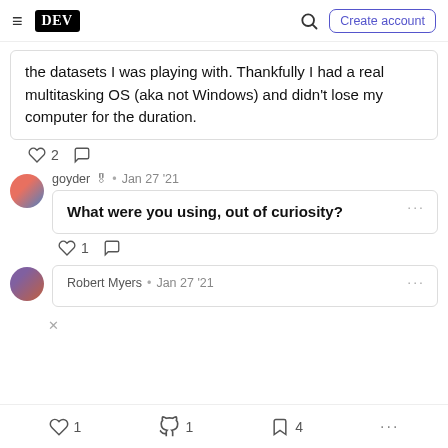DEV | Create account
the datasets I was playing with. Thankfully I had a real multitasking OS (aka not Windows) and didn't lose my computer for the duration.
♡ 2  ○
goyder 🎖 • Jan 27 '21
What were you using, out of curiosity?
♡ 1  ○
Robert Myers • Jan 27 '21
♡ 1   🔥 1   🔖 4   ...